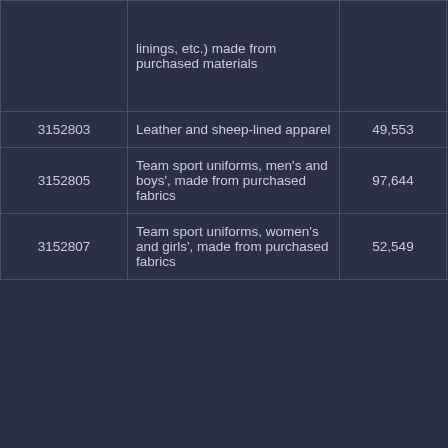|  | linings, etc.) made from purchased materials |  |  |  |  |
| 3152803 | Leather and sheep-lined apparel | 49,553 | 145,316 | 111,323 | 4 |
| 3152805 | Team sport uniforms, men's and boys', made from purchased fabrics | 97,644 | N | N | 1 |
| 3152807 | Team sport uniforms, women's and girls', made from purchased fabrics | 52,549 | N | N | 1 |